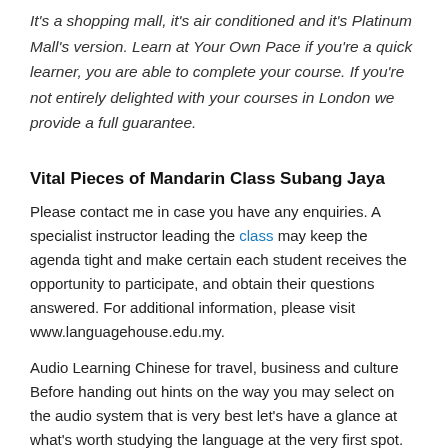It's a shopping mall, it's air conditioned and it's Platinum Mall's version. Learn at Your Own Pace if you're a quick learner, you are able to complete your course. If you're not entirely delighted with your courses in London we provide a full guarantee.
Vital Pieces of Mandarin Class Subang Jaya
Please contact me in case you have any enquiries. A specialist instructor leading the class may keep the agenda tight and make certain each student receives the opportunity to participate, and obtain their questions answered. For additional information, please visit www.languagehouse.edu.my.
Audio Learning Chinese for travel, business and culture Before handing out hints on the way you may select on the audio system that is very best let's have a glance at what's worth studying the language at the very first spot. Satisfying customers will certainly give a bit of growth to you. In reality, there are thousands upon thousands of merchandise and services which you can select to promote.